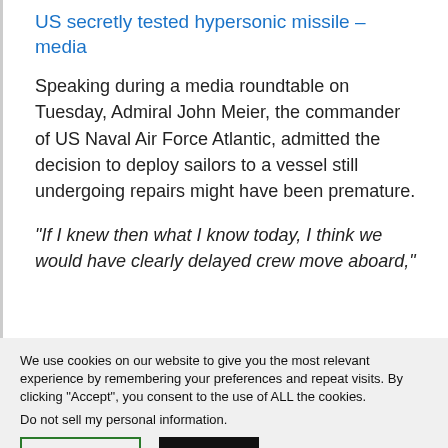US secretly tested hypersonic missile – media
Speaking during a media roundtable on Tuesday, Admiral John Meier, the commander of US Naval Air Force Atlantic, admitted the decision to deploy sailors to a vessel still undergoing repairs might have been premature.
“If I knew then what I know today, I think we would have clearly delayed crew move aboard,”
We use cookies on our website to give you the most relevant experience by remembering your preferences and repeat visits. By clicking “Accept”, you consent to the use of ALL the cookies.
Do not sell my personal information.
Cookie settings   ACCEPT